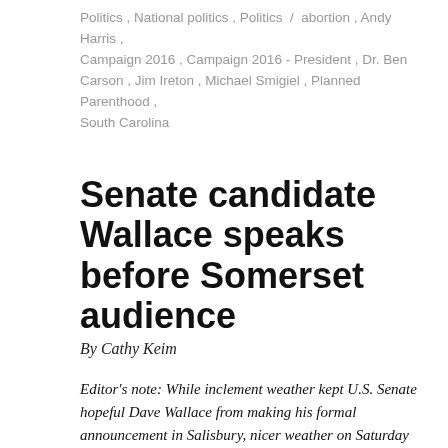Politics, National politics, Politics / abortion, Andy Harris, Campaign 2016, Campaign 2016 - President, Dr. Ben Carson, Jim Ireton, Michael Smigiel, Planned Parenthood, South Carolina
Senate candidate Wallace speaks before Somerset audience
By Cathy Keim
Editor's note: While inclement weather kept U.S. Senate hopeful Dave Wallace from making his formal announcement in Salisbury, nicer weather on Saturday allowed him to make an appearance before the Somerset County GOP in Princess Anne.